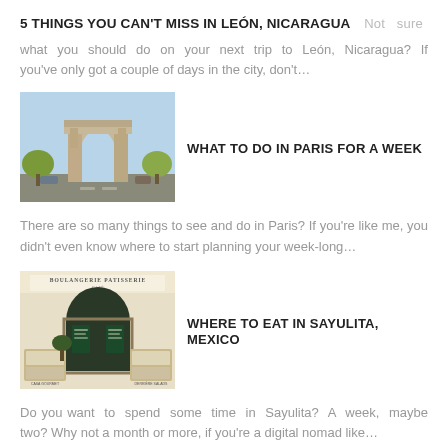5 THINGS YOU CAN'T MISS IN LEÓN, NICARAGUA   Not sure
what you should do on your next trip to León, Nicaragua? If you've only got a couple of days in the city, don't…
[Figure (photo): Arc de Triomphe in Paris, France, under a blue sky with traffic and trees visible in the foreground.]
WHAT TO DO IN PARIS FOR A WEEK
There are so many things to see and do in Paris? If you're like me, you didn't even know where to start planning your week-long…
[Figure (photo): Interior of a Boulangerie Patisserie Café with display cases showing pastries and baked goods; menu boards visible on the wall.]
WHERE TO EAT IN SAYULITA, MEXICO
Do you want to spend some time in Sayulita? A week, maybe two? Why not a month or more, if you're a digital nomad like…